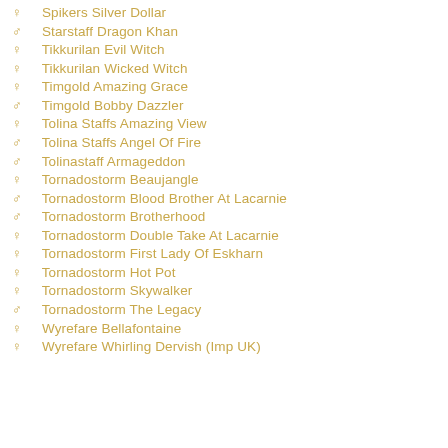♀ Spikers Silver Dollar
♂ Starstaff Dragon Khan
♀ Tikkurilan Evil Witch
♀ Tikkurilan Wicked Witch
♀ Timgold Amazing Grace
♂ Timgold Bobby Dazzler
♀ Tolina Staffs Amazing View
♂ Tolina Staffs Angel Of Fire
♂ Tolinastaff Armageddon
♀ Tornadostorm Beaujangle
♂ Tornadostorm Blood Brother At Lacarnie
♂ Tornadostorm Brotherhood
♀ Tornadostorm Double Take At Lacarnie
♀ Tornadostorm First Lady Of Eskharn
♀ Tornadostorm Hot Pot
♀ Tornadostorm Skywalker
♂ Tornadostorm The Legacy
♀ Wyrefare Bellafontaine
♀ Wyrefare Whirling Dervish (Imp UK)